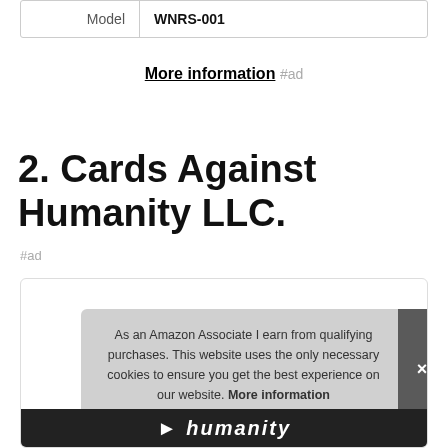| Model | WNRS-001 |
More information #ad
2. Cards Against Humanity LLC.
#ad
As an Amazon Associate I earn from qualifying purchases. This website uses the only necessary cookies to ensure you get the best experience on our website. More information
[Figure (logo): Cards Against Humanity logo partial view at the bottom]